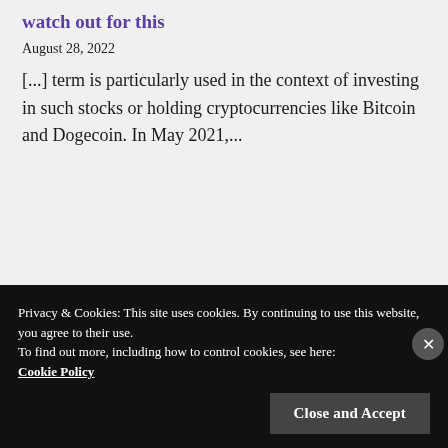watch out for this
August 28, 2022
[...] term is particularly used in the context of investing in such stocks or holding cryptocurrencies like Bitcoin and Dogecoin. In May 2021,...
Privacy & Cookies: This site uses cookies. By continuing to use this website, you agree to their use. To find out more, including how to control cookies, see here: Cookie Policy
Close and Accept